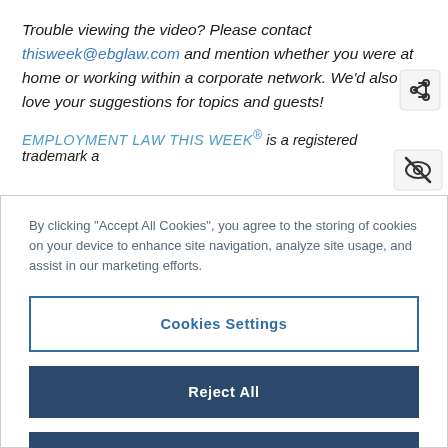Trouble viewing the video? Please contact thisweek@ebglaw.com and mention whether you were at home or working within a corporate network. We'd also love your suggestions for topics and guests!
EMPLOYMENT LAW THIS WEEK® is a registered trademark a...
By clicking "Accept All Cookies", you agree to the storing of cookies on your device to enhance site navigation, analyze site usage, and assist in our marketing efforts.
Cookies Settings
Reject All
Accept All Cookies